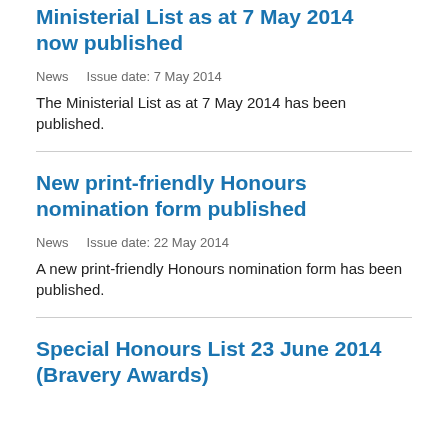Ministerial List as at 7 May 2014 now published
News    Issue date: 7 May 2014
The Ministerial List as at 7 May 2014 has been published.
New print-friendly Honours nomination form published
News    Issue date: 22 May 2014
A new print-friendly Honours nomination form has been published.
Special Honours List 23 June 2014 (Bravery Awards)